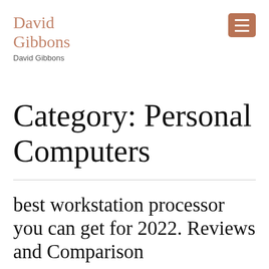David Gibbons
David Gibbons
Category: Personal Computers
best workstation processor you can get for 2022. Reviews and Comparison